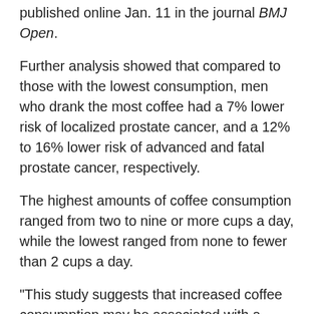published online Jan. 11 in the journal BMJ Open.
Further analysis showed that compared to those with the lowest consumption, men who drank the most coffee had a 7% lower risk of localized prostate cancer, and a 12% to 16% lower risk of advanced and fatal prostate cancer, respectively.
The highest amounts of coffee consumption ranged from two to nine or more cups a day, while the lowest ranged from none to fewer than 2 cups a day.
"This study suggests that increased coffee consumption may be associated with a reduced risk of prostate cancer," Wang's group wrote. "Further research is still warranted to explore the underlying mechanisms and active compounds in coffee," they added, but "if the association is further proved to be a causal effect, men might be encouraged to increase their coffee consumption to potentially decrease the risk of prostate